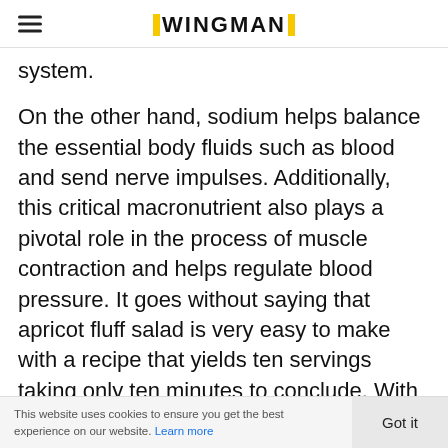WINGMAN
system.
On the other hand, sodium helps balance the essential body fluids such as blood and send nerve impulses. Additionally, this critical macronutrient also plays a pivotal role in the process of muscle contraction and helps regulate blood pressure. It goes without saying that apricot fluff salad is very easy to make with a recipe that yields ten servings taking only ten minutes to conclude. With all the benefits above in mind, how about you source the necessary
This website uses cookies to ensure you get the best experience on our website. Learn more  Got it